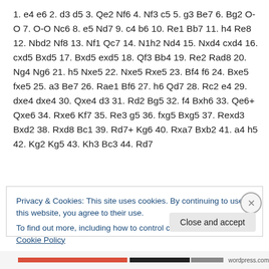1. e4 e6 2. d3 d5 3. Qe2 Nf6 4. Nf3 c5 5. g3 Be7 6. Bg2 O-O 7. O-O Nc6 8. e5 Nd7 9. c4 b6 10. Re1 Bb7 11. h4 Re8 12. Nbd2 Nf8 13. Nf1 Qc7 14. N1h2 Nd4 15. Nxd4 cxd4 16. cxd5 Bxd5 17. Bxd5 exd5 18. Qf3 Bb4 19. Re2 Rad8 20. Ng4 Ng6 21. h5 Nxe5 22. Nxe5 Rxe5 23. Bf4 f6 24. Bxe5 fxe5 25. a3 Be7 26. Rae1 Bf6 27. h6 Qd7 28. Rc2 e4 29. dxe4 dxe4 30. Qxe4 d3 31. Rd2 Bg5 32. f4 Bxh6 33. Qe6+ Qxe6 34. Rxe6 Kf7 35. Re3 g5 36. fxg5 Bxg5 37. Rexd3 Bxd2 38. Rxd8 Bc1 39. Rd7+ Kg6 40. Rxa7 Bxb2 41. a4 h5 42. Kg2 Kg5 43. Kh3 Bc3 44. Rd7
Privacy & Cookies: This site uses cookies. By continuing to use this website, you agree to their use.
To find out more, including how to control cookies, see here: Cookie Policy